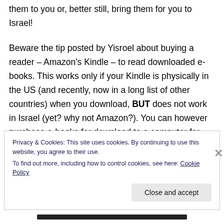them to you or, better still, bring them for you to Israel!

Beware the tip posted by Yisroel about buying a reader – Amazon's Kindle – to read downloaded e-books. This works only if your Kindle is physically in the US (and recently, now in a long list of other countries) when you download, BUT does not work in Israel (yet? why not Amazon?). You can however purchase e-books for download to a computer for which the Amazon
Privacy & Cookies: This site uses cookies. By continuing to use this website, you agree to their use.
To find out more, including how to control cookies, see here: Cookie Policy